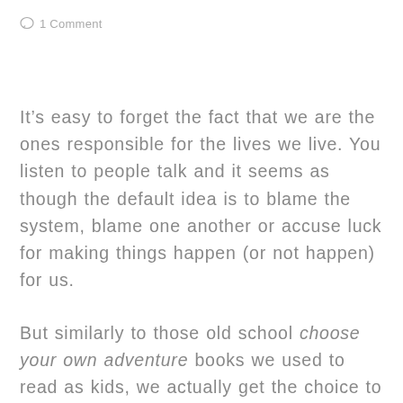1 Comment
It’s easy to forget the fact that we are the ones responsible for the lives we live. You listen to people talk and it seems as though the default idea is to blame the system, blame one another or accuse luck for making things happen (or not happen) for us.
But similarly to those old school choose your own adventure books we used to read as kids, we actually get the choice to choose our own life adventure. We are the ones in the driver’s seat: